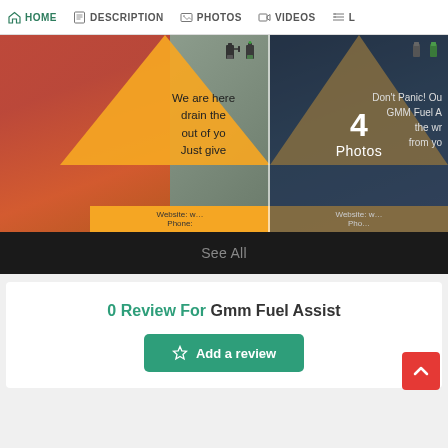HOME  DESCRIPTION  PHOTOS  VIDEOS  L
[Figure (photo): Left photo: fuel pump nozzle being held with orange handle, person in background, overlaid with orange/yellow triangle graphic and text 'We are here to drain the out of yo Just give' with website and phone info at bottom]
[Figure (photo): Right photo: fuel pump nozzle, dark overlay with brown/gold triangle graphic, text '4 Photos' centered, and partial text 'Don't Panic! Ou GMM Fuel A the wr from yo' with website and phone at bottom]
See All
0 Review For Gmm Fuel Assist
Add a review